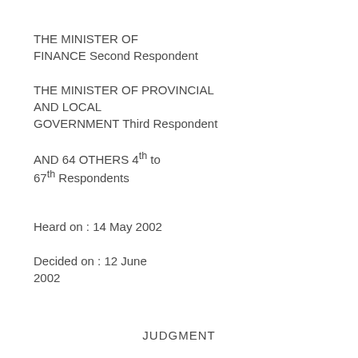THE MINISTER OF FINANCE Second Respondent
THE MINISTER OF PROVINCIAL AND LOCAL GOVERNMENT Third Respondent
AND 64 OTHERS 4th to 67th Respondents
Heard on : 14 May 2002
Decided on : 12 June 2002
JUDGMENT